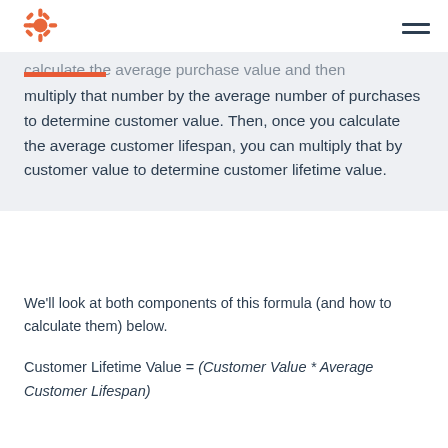HubSpot logo and navigation
calculate the average purchase value and then multiply that number by the average number of purchases to determine customer value. Then, once you calculate the average customer lifespan, you can multiply that by customer value to determine customer lifetime value.
We'll look at both components of this formula (and how to calculate them) below.
Customer Lifetime Value = (Customer Value * Average Customer Lifespan)